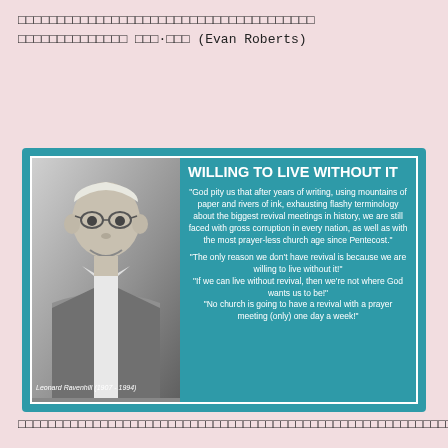□□□□□□□□□□□□□□□□□□□□□□□□□□□□□□□□□□□□□□ □□□□□□□□□□□□□□ □□□·□□□ (Evan Roberts)
[Figure (infographic): Quote card with photo of Leonard Ravenhill (1907-1994) on teal background. Title: WILLING TO LIVE WITHOUT IT. Quotes about revival and prayer.]
□□□□□□□□□□□□□□□□□□□□□□□□□□□□□□□□□□□□□□□□□□□□□□□□□□□□□□□□□□□□□□□□□□□□□□□□□□□□□□□□□□□□□□□□□□□□□□□□□□□□□□□□□□□□□□□□□□□□□□□□□□□□□□□□□□□□□□